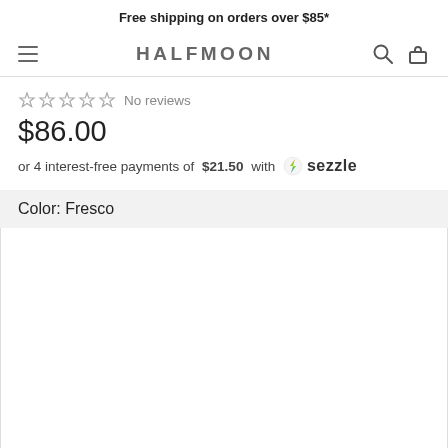Free shipping on orders over $85*
[Figure (screenshot): Navigation bar with hamburger menu icon, HALFMOON logo, search icon, and basket icon]
☆ ☆ ☆ ☆ ☆ No reviews
$86.00
or 4 interest-free payments of $21.50 with 🔥 sezzle
Color: Fresco